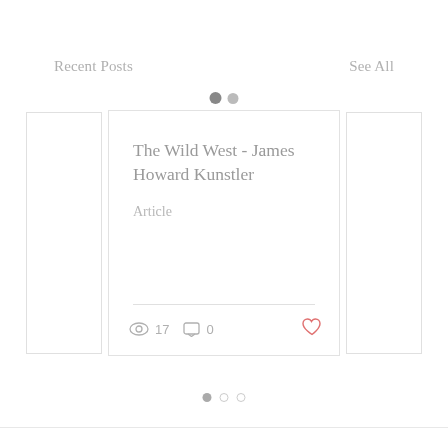Recent Posts
See All
The Wild West - James Howard Kunstler
Article
17
0